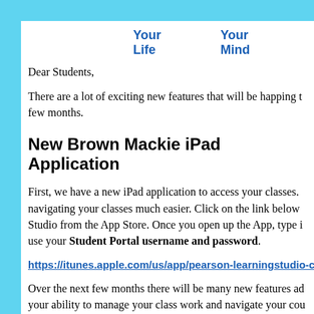Your Life    Your Mind
Dear Students,
There are a lot of exciting new features that will be happing to few months.
New Brown Mackie iPad Application
First, we have a new iPad application to access your classes. navigating your classes much easier. Click on the link below Studio from the App Store. Once you open up the App, type i use your Student Portal username and password.
https://itunes.apple.com/us/app/pearson-learningstudio-c
Over the next few months there will be many new features ad your ability to manage your class work and navigate your cou
Brown Mackie College iPad Course in iTun